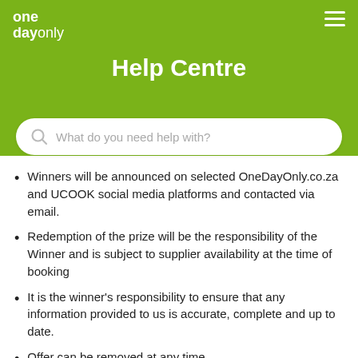one day only — Help Centre
Help Centre
[Figure (other): Search bar with placeholder text: What do you need help with?]
Winners will be announced on selected OneDayOnly.co.za and UCOOK social media platforms and contacted via email.
Redemption of the prize will be the responsibility of the Winner and is subject to supplier availability at the time of booking
It is the winner's responsibility to ensure that any information provided to us is accurate, complete and up to date.
Offer can be removed at any time.
Individuals eligible to enter the competition: The competition is open to SA residents who are over 18 years of age and in possession of a valid passport, but excludes directors, employees or agents of OneDayOnly.co.za, UCOOK and their immediate families.